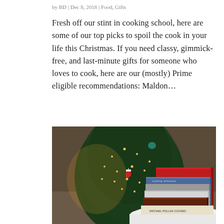by BD | Dec 8, 2018 | Food, Gifts
Fresh off our stint in cooking school, here are some of our top picks to spoil the cook in your life this Christmas. If you need classy, gimmick-free, and last-minute gifts for someone who loves to cook, here are our (mostly) Prime eligible recommendations: Maldon...
[Figure (photo): Stack of cookbooks on a white table in front of a decorated Christmas tree with lights and a small red stocking ornament. Books include titles such as 'Cooked' by Michael Pollan.]